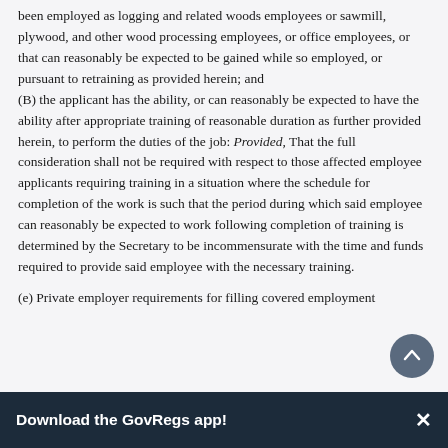been employed as logging and related woods employees or sawmill, plywood, and other wood processing employees, or office employees, or that can reasonably be expected to be gained while so employed, or pursuant to retraining as provided herein; and
(B) the applicant has the ability, or can reasonably be expected to have the ability after appropriate training of reasonable duration as further provided herein, to perform the duties of the job: Provided, That the full consideration shall not be required with respect to those affected employee applicants requiring training in a situation where the schedule for completion of the work is such that the period during which said employee can reasonably be expected to work following completion of training is determined by the Secretary to be incommensurate with the time and funds required to provide said employee with the necessary training.
(e) Private employer requirements for filling covered employment
Download the GovRegs app!